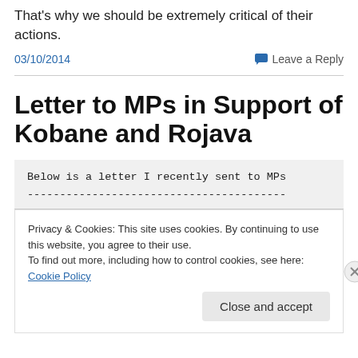That's why we should be extremely critical of their actions.
03/10/2014
Leave a Reply
Letter to MPs in Support of Kobane and Rojava
Below is a letter I recently sent to MPs
----------------------------------------
Privacy & Cookies: This site uses cookies. By continuing to use this website, you agree to their use.
To find out more, including how to control cookies, see here: Cookie Policy
Close and accept